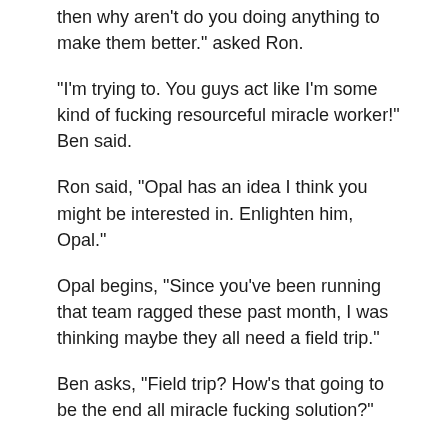then why aren't do you doing anything to make them better." asked Ron.
"I'm trying to. You guys act like I'm some kind of fucking resourceful miracle worker!" Ben said.
Ron said, "Opal has an idea I think you might be interested in. Enlighten him, Opal."
Opal begins, "Since you've been running that team ragged these past month, I was thinking maybe they all need a field trip."
Ben asks, "Field trip? How's that going to be the end all miracle fucking solution?"
"That way they can experience the great outdoors. A camping trip if you will." suggests Opal.